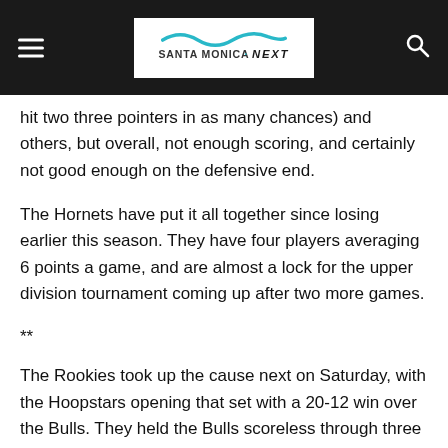[Figure (logo): Santa Monica NEXT logo with wave graphic on dark header bar with hamburger menu and search icon]
hit two three pointers in as many chances) and others, but overall, not enough scoring, and certainly not good enough on the defensive end.
The Hornets have put it all together since losing earlier this season. They have four players averaging 6 points a game, and are almost a lock for the upper division tournament coming up after two more games.
**
The Rookies took up the cause next on Saturday, with the Hoopstars opening that set with a 20-12 win over the Bulls. They held the Bulls scoreless through three — that'll usually get you the “W”. Lucas Kim and Felix Idell each dropped in four